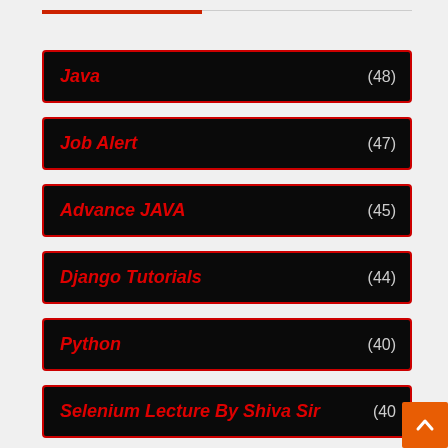Java (48)
Job Alert (47)
Advance JAVA (45)
Django Tutorials (44)
Python (40)
Selenium Lecture By Shiva Sir (40)